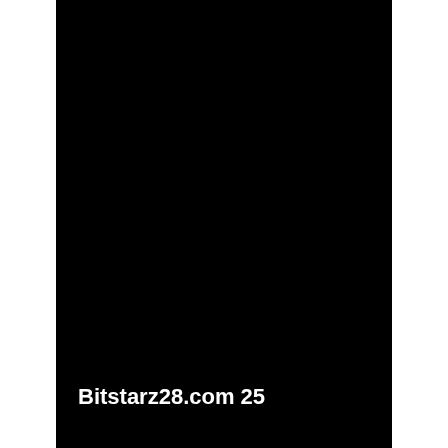[Figure (photo): Mostly black/dark image page with white margins on left and right sides]
Bitstarz28.com 25